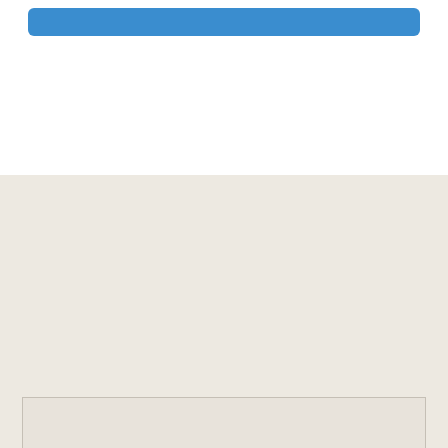[Figure (other): Blue rounded rectangle banner/bar at the top of the page]
[Figure (map): Map placeholder area with beige/tan background and light border, no visible map content]
New York Office
1325 Avenue of the Americas